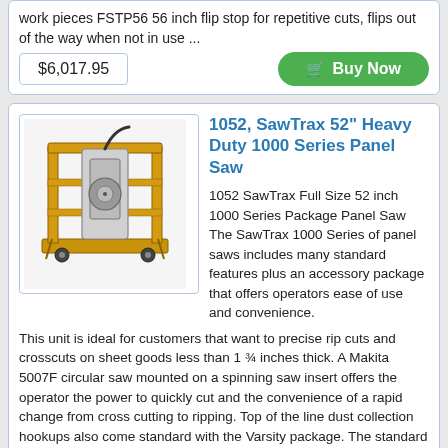work pieces FSTP56 56 inch flip stop for repetitive cuts, flips out of the way when not in use ...
$6,017.95
Buy Now
[Figure (photo): Photo of a SawTrax 52 inch Heavy Duty 1000 Series Panel Saw, yellow metal frame with saw mounted on a platform with wheels]
1052, SawTrax 52" Heavy Duty 1000 Series Panel Saw
1052 SawTrax Full Size 52 inch 1000 Series Package Panel Saw The SawTrax 1000 Series of panel saws includes many standard features plus an accessory package that offers operators ease of use and convenience. This unit is ideal for customers that want to precise rip cuts and crosscuts on sheet goods less than 1 ¾ inches thick. A Makita 5007F circular saw mounted on a spinning saw insert offers the operator the power to quickly cut and the convenience of a rapid change from cross cutting to ripping. Top of the line dust collection hookups also come standard with the Varsity package. The standard folding stand and wheels provide optimum stability, yet for storage and mobility, the legs fold as easily as a portable ladder, and the wheels allow for easy movement around the shop